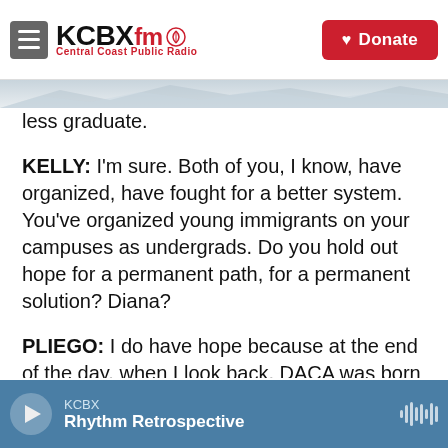KCBX FM Central Coast Public Radio | Donate
less graduate.
KELLY: I'm sure. Both of you, I know, have organized, have fought for a better system. You've organized young immigrants on your campuses as undergrads. Do you hold out hope for a permanent path, for a permanent solution? Diana?
PLIEGO: I do have hope because at the end of the day, when I look back, DACA was born out of hope that turned into action. And that created the reality that we have now. And even though we know that DACA isn't enough, we wouldn't have DACA if there
KCBX | Rhythm Retrospective